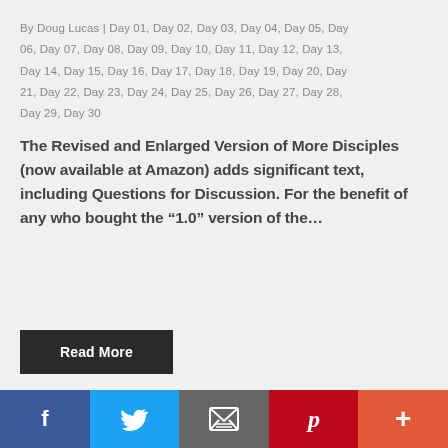By Doug Lucas | Day 01, Day 02, Day 03, Day 04, Day 05, Day 06, Day 07, Day 08, Day 09, Day 10, Day 11, Day 12, Day 13, Day 14, Day 15, Day 16, Day 17, Day 18, Day 19, Day 20, Day 21, Day 22, Day 23, Day 24, Day 25, Day 26, Day 27, Day 28, Day 29, Day 30
The Revised and Enlarged Version of More Disciples (now available at Amazon) adds significant text, including Questions for Discussion. For the benefit of any who bought the “1.0” version of the…
Read More
f | (twitter) | (email) | p | +